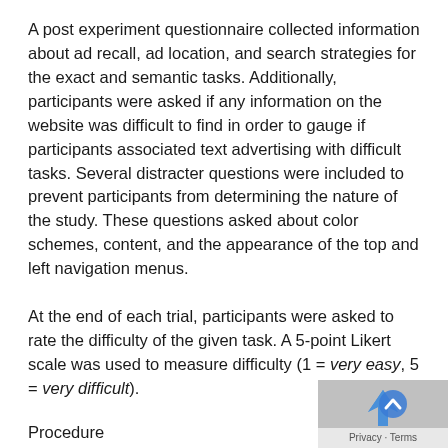A post experiment questionnaire collected information about ad recall, ad location, and search strategies for the exact and semantic tasks. Additionally, participants were asked if any information on the website was difficult to find in order to gauge if participants associated text advertising with difficult tasks. Several distracter questions were included to prevent participants from determining the nature of the study. These questions asked about color schemes, content, and the appearance of the top and left navigation menus.
At the end of each trial, participants were asked to rate the difficulty of the given task. A 5-point Likert scale was used to measure difficulty (1 = very easy, 5 = very difficult).
Procedure